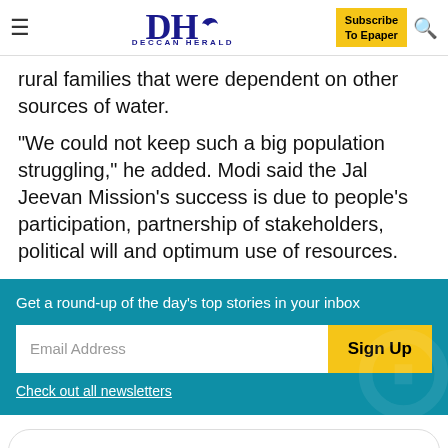DH DECCAN HERALD | Subscribe To Epaper
rural families that were dependent on other sources of water.
"We could not keep such a big population struggling," he added. Modi said the Jal Jeevan Mission's success is due to people's participation, partnership of stakeholders, political will and optimum use of resources.
Get a round-up of the day's top stories in your inbox
Email Address
Sign Up
Check out all newsletters
Deccan Herald News now on Telegram - Click here to